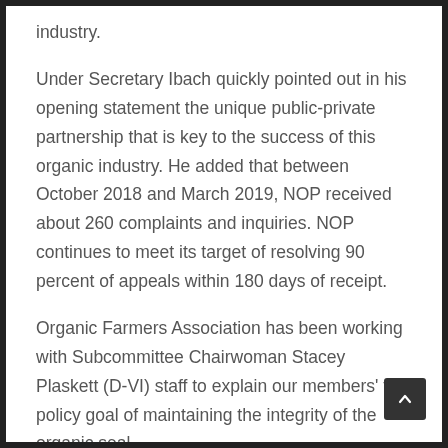industry.
Under Secretary Ibach quickly pointed out in his opening statement the unique public-private partnership that is key to the success of this organic industry. He added that between October 2018 and March 2019, NOP received about 260 complaints and inquiries. NOP continues to meet its target of resolving 90 percent of appeals within 180 days of receipt.
Organic Farmers Association has been working with Subcommittee Chairwoman Stacey Plaskett (D-VI) staff to explain our members' top policy goal of maintaining the integrity of the organic seal.